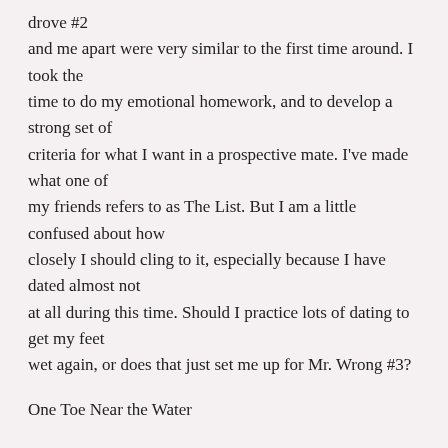drove #2 and me apart were very similar to the first time around. I took the time to do my emotional homework, and to develop a strong set of criteria for what I want in a prospective mate. I've made what one of my friends refers to as The List. But I am a little confused about how closely I should cling to it, especially because I have dated almost not at all during this time. Should I practice lots of dating to get my feet wet again, or does that just set me up for Mr. Wrong #3?
One Toe Near the Water
Dear One Toe: